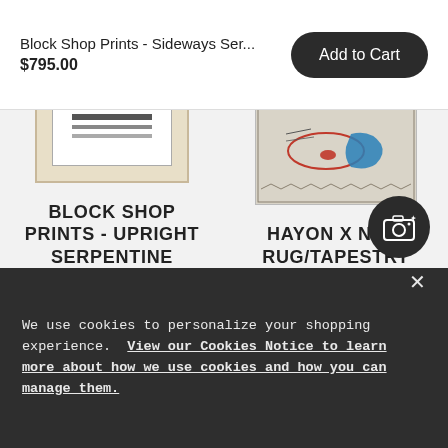Block Shop Prints - Sideways Ser...
$795.00
[Figure (photo): Partial view of a framed print with horizontal lines on cream background]
[Figure (photo): Partial view of a rug/tapestry with abstract hand/fish motif in blue and red]
BLOCK SHOP PRINTS - UPRIGHT SERPENTINE
HAYON X NANI RUG/TAPESTRY
[Figure (other): Camera icon button (dark circular button with camera icon)]
We use cookies to personalize your shopping experience. View our Cookies Notice to learn more about how we use cookies and how you can manage them.